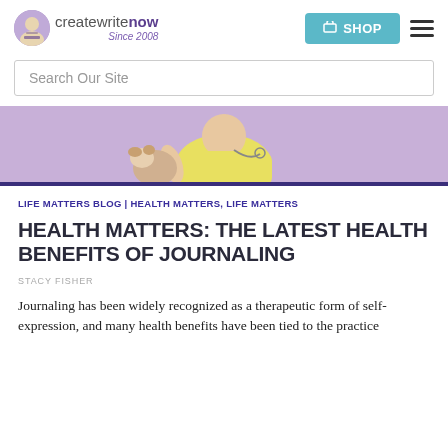createwritenow Since 2008
Search Our Site
[Figure (photo): Hero image showing a child in a yellow shirt holding a stuffed animal dog, with a purple/lavender background]
LIFE MATTERS BLOG | HEALTH MATTERS, LIFE MATTERS
HEALTH MATTERS: THE LATEST HEALTH BENEFITS OF JOURNALING
STACY FISHER
Journaling has been widely recognized as a therapeutic form of self-expression, and many health benefits have been tied to the practice